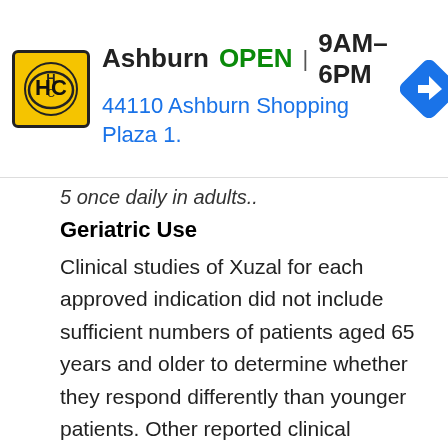[Figure (other): Advertisement banner for Ashburn HC location showing logo, OPEN status, hours 9AM-6PM, address 44110 Ashburn Shopping Plaza 1., and navigation icon]
5 once daily in adults..
Geriatric Use
Clinical studies of Xuzal for each approved indication did not include sufficient numbers of patients aged 65 years and older to determine whether they respond differently than younger patients. Other reported clinical experience has not identified differences in responses between the elderly and younger patients. In general, dose selection for an elderly patient should be cautious, usually starting at the low end of the dosing range reflecting the greater frequency of decreased hepatic, renal, or cardiac function and of